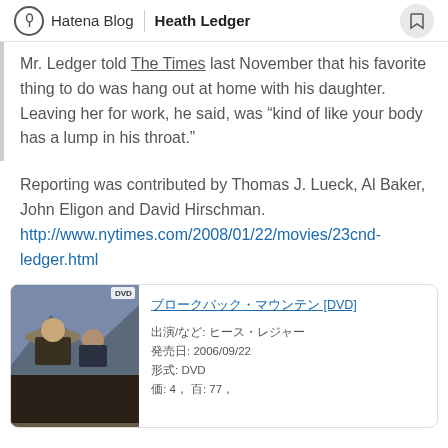Hatena Blog | Heath Ledger
Mr. Ledger told The Times last November that his favorite thing to do was hang out at home with his daughter. Leaving her for work, he said, was “kind of like your body has a lump in his throat.”
Reporting was contributed by Thomas J. Lueck, Al Baker, John Eligon and David Hirschman.
http://www.nytimes.com/2008/01/22/movies/23cnd-ledger.html
[Figure (screenshot): DVD product card for a movie featuring two men in cowboy hats (Brokeback Mountain style), with Japanese text showing product details: release date 2006/09/22, format DVD, and other metadata.]